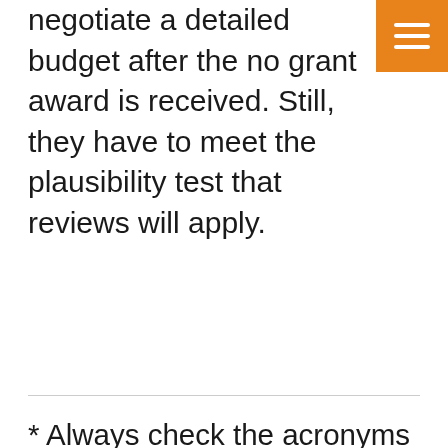likely change, as the grantee will have to negotiate a detailed budget after the no grant award is received. Still, they have to meet the plausibility test that reviews will apply.
* Always check the acronyms for proposed positions. For example, it would not be a good idea to list Community Outreach Workers for a women's health outreach project, as you would be proposing hiring COWs. Another unintentionally funny position name we see fairly often is Peer